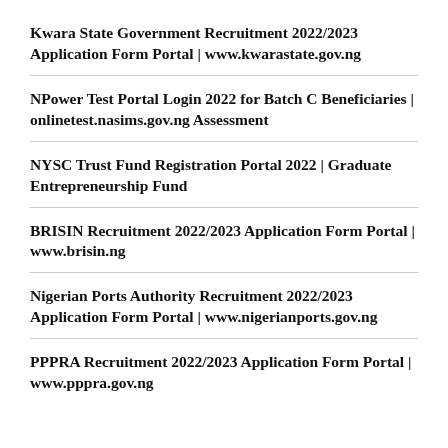Kwara State Government Recruitment 2022/2023 Application Form Portal | www.kwarastate.gov.ng
NPower Test Portal Login 2022 for Batch C Beneficiaries | onlinetest.nasims.gov.ng Assessment
NYSC Trust Fund Registration Portal 2022 | Graduate Entrepreneurship Fund
BRISIN Recruitment 2022/2023 Application Form Portal | www.brisin.ng
Nigerian Ports Authority Recruitment 2022/2023 Application Form Portal | www.nigerianports.gov.ng
PPPRA Recruitment 2022/2023 Application Form Portal | www.pppra.gov.ng